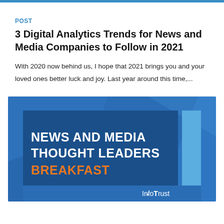POST
3 Digital Analytics Trends for News and Media Companies to Follow in 2021
With 2020 now behind us, I hope that 2021 brings you and your loved ones better luck and joy. Last year around this time,...
[Figure (illustration): InfoTrust promotional image with dark blue background showing text: NEWS AND MEDIA THOUGHT LEADERS BREAKFAST in white and orange, with InfoTrust logo at bottom right and a light blue vertical bar accent on the right side.]